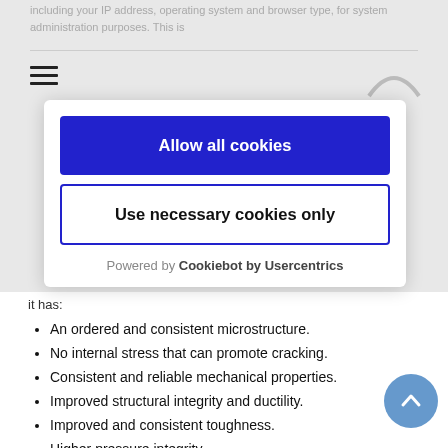including your IP address, operating system and browser type, for system administration purposes. This is
[Figure (screenshot): Cookie consent modal with 'Allow all cookies' blue button and 'Use necessary cookies only' outlined button, powered by Cookiebot by Usercentrics]
it has:
An ordered and consistent microstructure.
No internal stress that can promote cracking.
Consistent and reliable mechanical properties.
Improved structural integrity and ductility.
Improved and consistent toughness.
Higher pressure integrity.